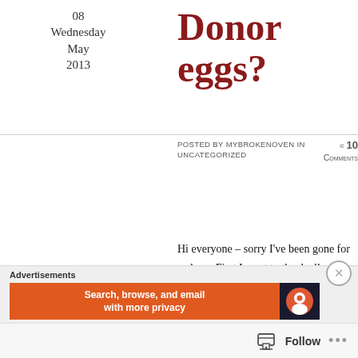08 Wednesday May 2013
Donor eggs?
POSTED BY MYBROKENOVEN IN UNCATEGORIZED ≈ 10 COMMENTS
Tags
anonymous donor, donor eggs, DOR, frozen donor eggs
Hi everyone – sorry I've been gone for so long. First I want to thank all of you from the bottom of my heart for your thoughts, comments and well wishes. There are times in the last few months when I've been in a pretty dark place and your support has been invaluable to me. So, thank you.
Things have been pretty rough 'round these parts. A few days after we found out that my sister has DOR
[Figure (other): Advertisement banner for DuckDuckGo: 'Search, browse, and email with more privacy']
Follow